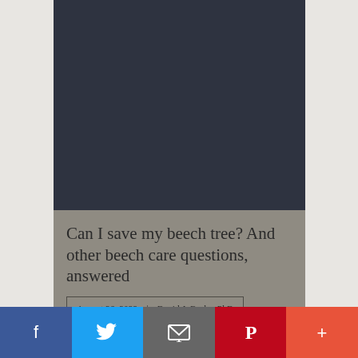[Figure (photo): Dark background image placeholder at top]
Can I save my beech tree? And other beech care questions, answered
August 26, 2022 | David J. Burke, PhD
[Figure (photo): Dark background image with News label and icon]
Facebook | Twitter | Email | Pinterest | More